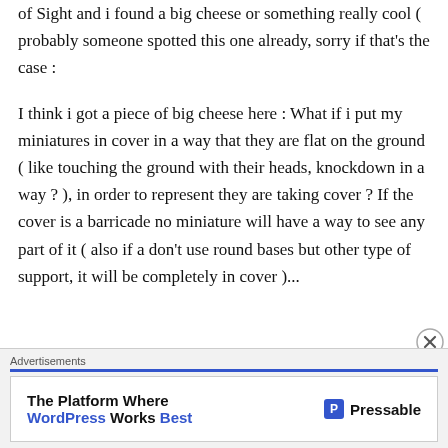of Sight and i found a big cheese or something really cool ( probably someone spotted this one already, sorry if that's the case :
I think i got a piece of big cheese here : What if i put my miniatures in cover in a way that they are flat on the ground ( like touching the ground with their heads, knockdown in a way ? ), in order to represent they are taking cover ? If the cover is a barricade no miniature will have a way to see any part of it ( also if a don't use round bases but other type of support, it will be completely in cover )...
Advertisements
The Platform Where WordPress Works Best — Pressable